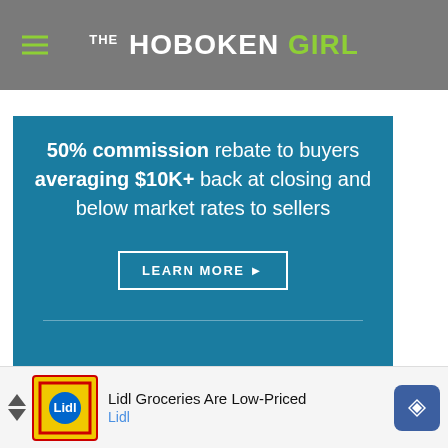THE HOBOKEN GIRL
[Figure (screenshot): Blue advertisement banner: '50% commission rebate to buyers averaging $10K+ back at closing and below market rates to sellers' with LEARN MORE button]
Join Our Mailing List
Don't miss any local news stories by
[Figure (screenshot): Bottom advertisement bar for Lidl Groceries with text 'Lidl Groceries Are Low-Priced' and Lidl logo and navigation icon, with X close button]